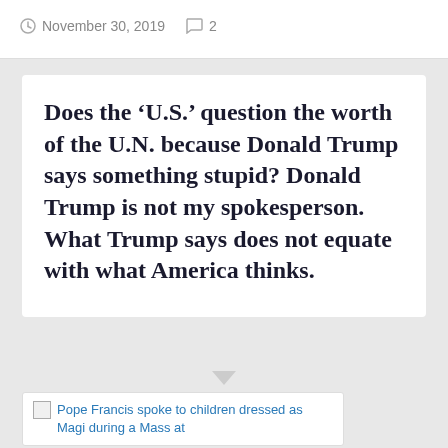November 30, 2019  2
Does the ‘U.S.’ question the worth of the U.N. because Donald Trump says something stupid? Donald Trump is not my spokesperson. What Trump says does not equate with what America thinks.
Pope Francis spoke to children dressed as Magi during a Mass at